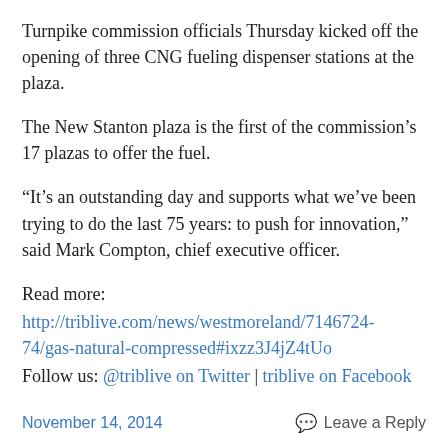Turnpike commission officials Thursday kicked off the opening of three CNG fueling dispenser stations at the plaza.
The New Stanton plaza is the first of the commission's 17 plazas to offer the fuel.
“It’s an outstanding day and supports what we’ve been trying to do the last 75 years: to push for innovation,” said Mark Compton, chief executive officer.
Read more:
http://triblive.com/news/westmoreland/7146724-74/gas-natural-compressed#ixzz3J4jZ4tUo
Follow us: @triblive on Twitter | triblive on Facebook
November 14, 2014   Leave a Reply